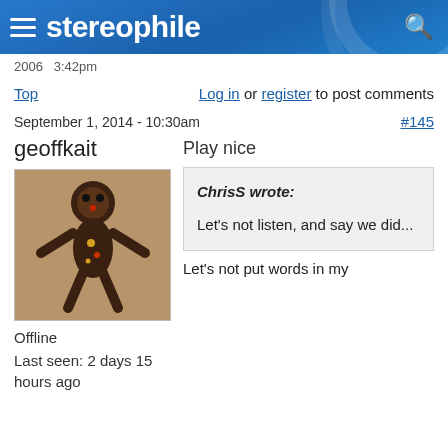stereophile
2006  3:42pm
Top   Log in or register to post comments
September 1, 2014 - 10:30am   #145
geoffkait   Play nice
[Figure (photo): Avatar image of user geoffkait showing a voodoo doll figure]
Offline
Last seen: 2 days 15 hours ago
ChrisS wrote:
Let's not listen, and say we did...
Let's not put words in my